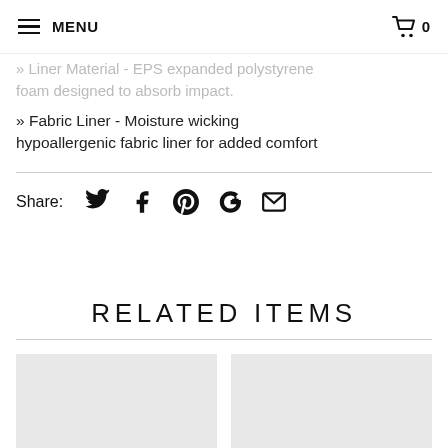MENU  [cart] 0
» Liner Material - EPS expanded polystyrene foam designed to absorb impact.
» Fabric Liner - Moisture wicking hypoallergenic fabric liner for added comfort
Share: [Twitter] [Facebook] [Pinterest] [Google+] [Email]
RELATED ITEMS
[Figure (photo): Two product thumbnail placeholder images (light gray boxes) for related items section]